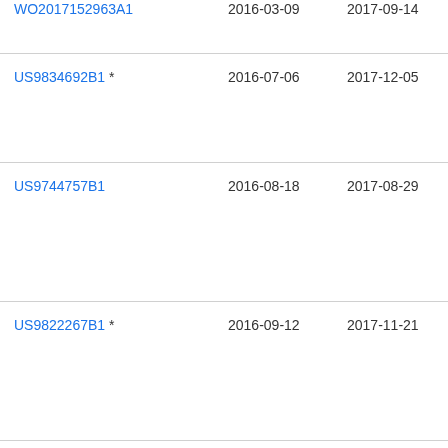| Patent | Filed | Published | Assignee |
| --- | --- | --- | --- |
| WO2017152963A1 | 2016-03-09 | 2017-09-14 | Hip B.V |
| US9834692B1 * | 2016-07-06 | 2017-12-05 | Xer Cor |
| US9744757B1 | 2016-08-18 | 2017-08-29 | Xer Cor |
| US9822267B1 * | 2016-09-12 | 2017-11-21 | Xer Cor |
| US20180105712A1 * | 2016-10-18 | 2018-04-19 | Xer Cor |
| US20180163064A1 * | 2016-12-13 | 2018-06-14 | Xer |